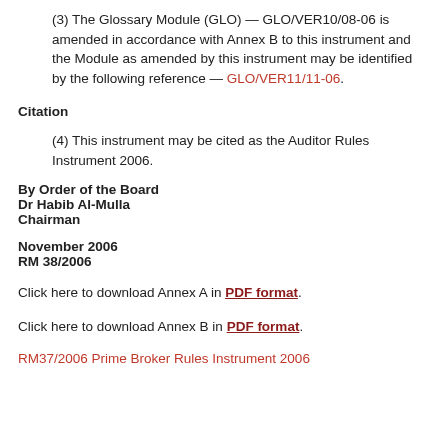(3) The Glossary Module (GLO) — GLO/VER10/08-06 is amended in accordance with Annex B to this instrument and the Module as amended by this instrument may be identified by the following reference — GLO/VER11/11-06.
Citation
(4) This instrument may be cited as the Auditor Rules Instrument 2006.
By Order of the Board
Dr Habib Al-Mulla
Chairman
November 2006
RM 38/2006
Click here to download Annex A in PDF format.
Click here to download Annex B in PDF format.
RM37/2006 Prime Broker Rules Instrument 2006